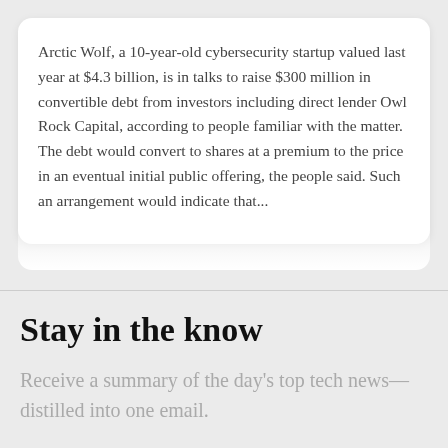Arctic Wolf, a 10-year-old cybersecurity startup valued last year at $4.3 billion, is in talks to raise $300 million in convertible debt from investors including direct lender Owl Rock Capital, according to people familiar with the matter. The debt would convert to shares at a premium to the price in an eventual initial public offering, the people said. Such an arrangement would indicate that…
Stay in the know
Receive a summary of the day's top tech news—distilled into one email.